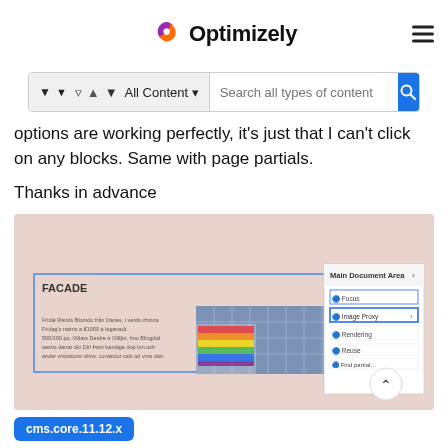Optimizely
options are working perfectly, it's just that I can't click on any blocks. Same with page partials.
Thanks in advance
[Figure (screenshot): Screenshot of Optimizely CMS editor showing a page with a FACADE heading, a pride parade image, and an edit panel on the right with options like Focus, Image Proxy, Rendering, Reuse, Find partial]
cms.core.11.12.x